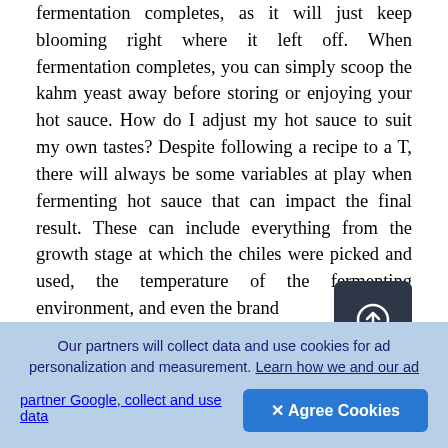fermentation completes, as it will just keep blooming right where it left off. When fermentation completes, you can simply scoop the kahm yeast away before storing or enjoying your hot sauce. How do I adjust my hot sauce to suit my own tastes? Despite following a recipe to a T, there will always be some variables at play when fermenting hot sauce that can impact the final result. These can include everything from the growth stage at which the chiles were picked and used, the temperature of the fermenting environment, and even the brand of salt used. If a final ferment is too salty or acidic, adding a bit of oil or sugar to the finished hot sauce can help remedy the situation. If a hot sauce is not
[Figure (other): Dark rounded square button with a circular upload/add icon (circle with upward arrow) in white on dark charcoal background]
Our partners will collect data and use cookies for ad personalization and measurement. Learn how we and our ad partner Google, collect and use data
✕ Agree Cookies